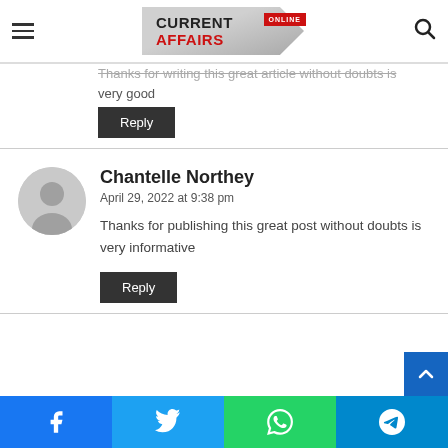[Figure (logo): Current Affairs Online logo with red and grey branding]
Thanks for writing this great article without doubts is very good
Reply
Chantelle Northey
April 29, 2022 at 9:38 pm
Thanks for publishing this great post without doubts is very informative
Reply
Facebook | Twitter | WhatsApp | Telegram